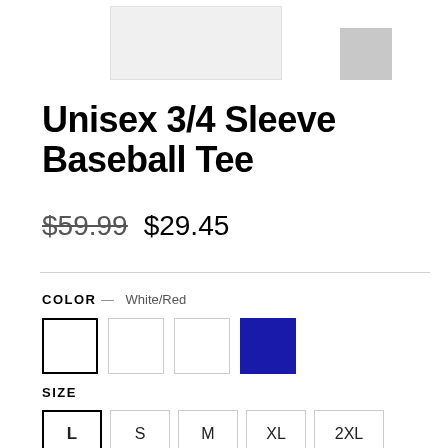[Figure (photo): Product image of a white baseball tee shirt (partial, top portion), with a smaller gray swatch thumbnail to the right]
Unisex 3/4 Sleeve Baseball Tee
$59.99 $29.45
COLOR — White/Red
SIZE